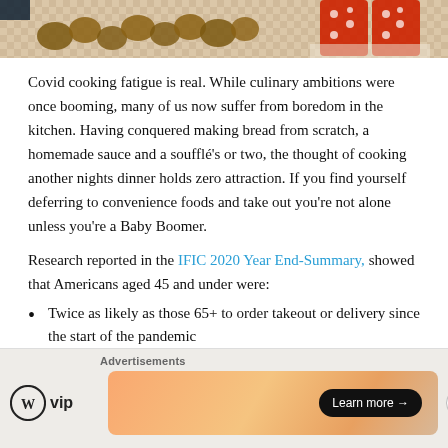[Figure (photo): Top strip of a photo showing walnuts/nuts on a checkered tablecloth with red polka-dot containers]
Covid cooking fatigue is real. While culinary ambitions were once booming, many of us now suffer from boredom in the kitchen. Having conquered making bread from scratch, a homemade sauce and a soufflé's or two, the thought of cooking another nights dinner holds zero attraction. If you find yourself deferring to convenience foods and take out you're not alone unless you're a Baby Boomer.
Research reported in the IFIC 2020 Year End-Summary, showed that Americans aged 45 and under were:
Twice as likely as those 65+ to order takeout or delivery since the start of the pandemic
[Figure (screenshot): Advertisements bar at bottom: WordPress VIP logo on left, gradient orange/peach banner ad with 'Learn more' button on right, close button in corner]